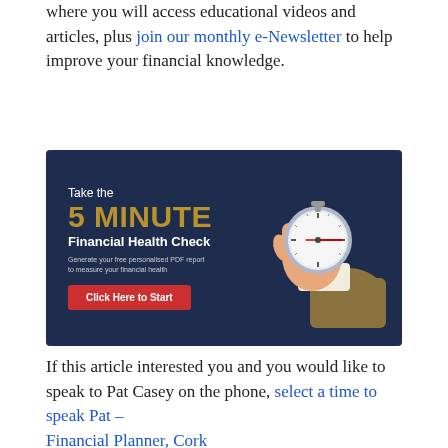where you will access educational videos and articles, plus join our monthly e-Newsletter to help improve your financial knowledge.
[Figure (infographic): Dark navy banner advertisement for a '5 Minute Financial Health Check'. Left side shows text: 'Take the', '5 MINUTE' (in gold/olive), 'Financial Health Check' (bold white), 'Generate your free personalised PDF report to measure your financial health' (small grey text), and a red 'Click Here to Start' button. Right side shows an illustrated hand holding a stopwatch/timer.]
If this article interested you and you would like to speak to Pat Casey on the phone, select a time to speak Pat – Financial Planner, Cork